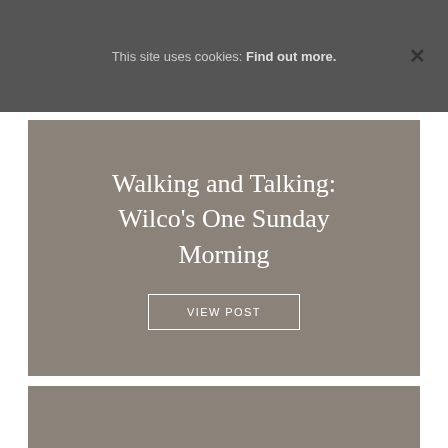This site uses cookies: Find out more. ×
Walking and Talking: Wilco's One Sunday Morning
VIEW POST
Human Science…But a Passing Fable